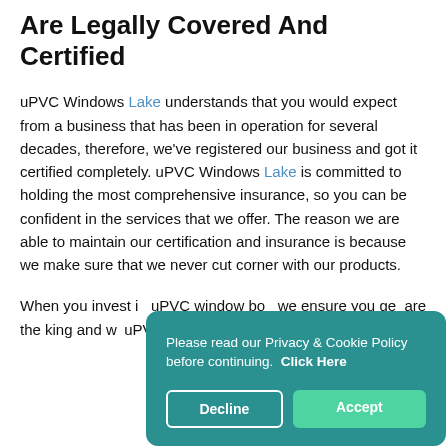Are Legally Covered And Certified
uPVC Windows Lake understands that you would expect from a business that has been in operation for several decades, therefore, we've registered our business and got it certified completely. uPVC Windows Lake is committed to holding the most comprehensive insurance, so you can be confident in the services that we offer. The reason we are able to maintain our certification and insurance is because we make sure that we never cut corner with our products.
When you invest in uPVC window boa we ensure you get are the king and w uPVC Windows Lake. At uPVC Windows
Please read our Privacy & Cookie Policy before continuing. Click Here
Decline
Accept